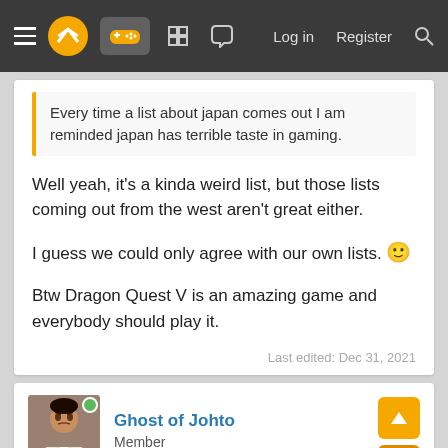Navigation bar with hamburger menu, logo, controller icon, game icons, Log in, Register, Search
Every time a list about japan comes out I am reminded japan has terrible taste in gaming.
Well yeah, it's a kinda weird list, but those lists coming out from the west aren't great either.

I guess we could only agree with our own lists. 🙂

Btw Dragon Quest V is an amazing game and everybody should play it.
Last edited: Dec 31, 2021
Ghost of Johto
Member
Dec 31, 2021
Poser said: